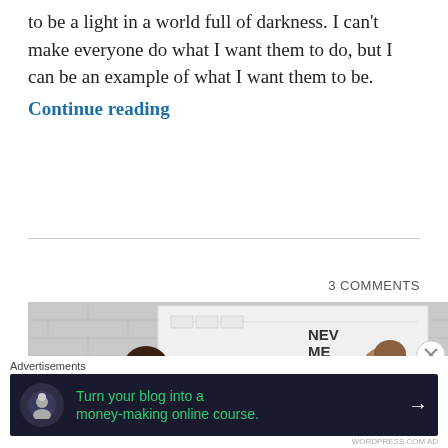to be a light in a world full of darkness. I can't make everyone do what I want them to do, but I can be an example of what I want them to be. Continue reading
3 COMMENTS
[Figure (photo): Three people in orange prison jumpsuits viewed from behind, looking at a whiteboard with text including 'NEW MEMBER' and other notes.]
Advertisements
[Figure (infographic): Advertisement banner with dark background, green text reading 'Turn your blog into a money-making online course.' with an arrow button.]